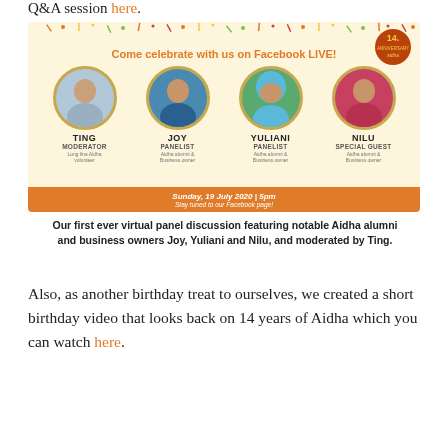Q&A session here.
[Figure (infographic): Promotional flyer for Aidha 14th anniversary Facebook LIVE event. Shows four circular portrait photos of panelists: Ting (Moderator), Joy (Panelist), Yuliani (Panelist), and Nilu (Special Guest). Orange footer reads: Sunday, 19 July 2020 | 5pm. Stay tuned to our Facebook page!]
Our first ever virtual panel discussion featuring notable Aidha alumni and business owners Joy, Yuliani and Nilu, and moderated by Ting.
Also, as another birthday treat to ourselves, we created a short birthday video that looks back on 14 years of Aidha which you can watch here.